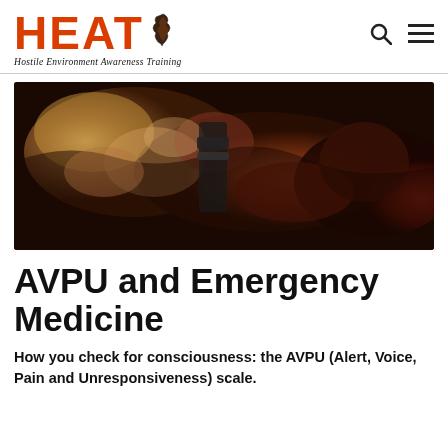HEAT – Hostile Environment Awareness Training
[Figure (photo): Close-up photograph of severely burned or wounded tissue on a human limb, showing traumatic injury with discoloration and tissue damage]
AVPU and Emergency Medicine
How you check for consciousness: the AVPU (Alert, Voice, Pain and Unresponsiveness) scale.